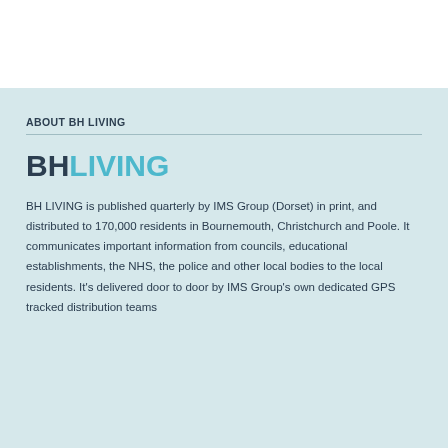ABOUT BH LIVING
[Figure (logo): BH LIVING logo with BH in dark slate color and LIVING in teal/cyan color]
BH LIVING is published quarterly by IMS Group (Dorset) in print, and distributed to 170,000 residents in Bournemouth, Christchurch and Poole. It communicates important information from councils, educational establishments, the NHS, the police and other local bodies to the local residents. It's delivered door to door by IMS Group's own dedicated GPS tracked distribution teams